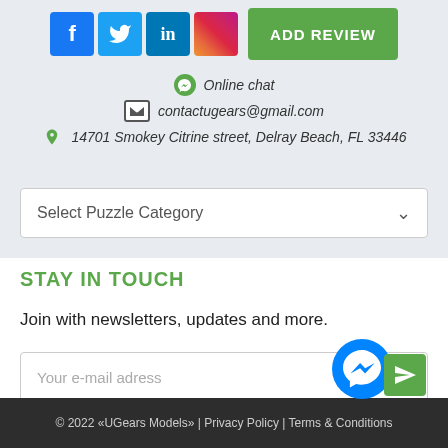[Figure (screenshot): Social media icons (Facebook, Twitter, LinkedIn, Instagram) and a green ADD REVIEW button]
Online chat
contactugears@gmail.com
14701 Smokey Citrine street, Delray Beach, FL 33446
Select Puzzle Category
STAY IN TOUCH
Join with newsletters, updates and more.
Your e-mail adress
© 2022 «UGears Models» | Privacy Policy | Terms & Conditions